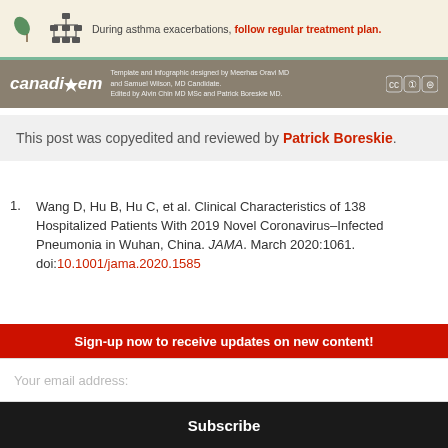[Figure (infographic): Asthma exacerbation infographic banner with leaf icon, org chart icon, and text: During asthma exacerbations, follow regular treatment plan.]
[Figure (logo): CanadiEM logo banner with attribution text: Template and infographic designed by Meerhas Oravi MD and Samuel Wilson, MD Candidate. Edited by Alvin Chin MD MSc and Patrick Boreskie MD. Creative Commons license icons.]
This post was copyedited and reviewed by Patrick Boreskie.
Wang D, Hu B, Hu C, et al. Clinical Characteristics of 138 Hospitalized Patients With 2019 Novel Coronavirus–Infected Pneumonia in Wuhan, China. JAMA. March 2020:1061. doi:10.1001/jama.2020.1585
Guan W, Ni Z, Hu Y, et al. Clinical Characteristics of Coronavirus Disease 2019 in China. [partial]
Sign-up now to receive updates on new content!
Your email address:
Subscribe